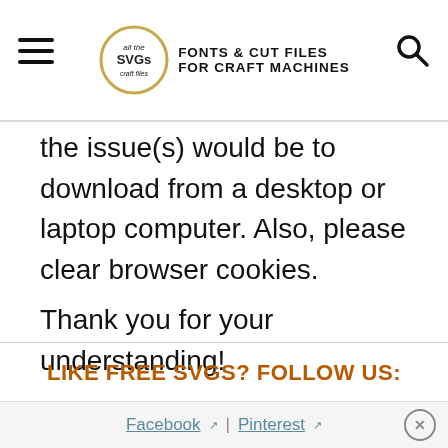all the SVGs FONTS & CUT FILES FOR CRAFT MACHINES
the issue(s) would be to download from a desktop or laptop computer. Also, please clear browser cookies.

Thank you for your understanding!
LIKE FREE SVGS? FOLLOW US:
Facebook | Pinterest